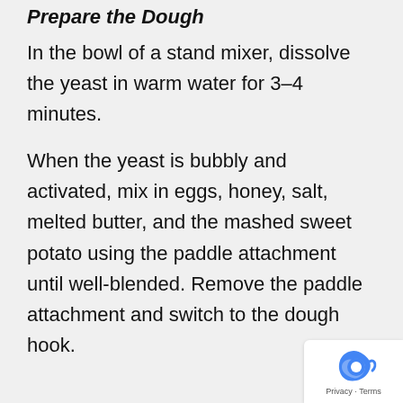Prepare the Dough
In the bowl of a stand mixer, dissolve the yeast in warm water for 3–4 minutes.
When the yeast is bubbly and activated, mix in eggs, honey, salt, melted butter, and the mashed sweet potato using the paddle attachment until well-blended. Remove the paddle attachment and switch to the dough hook.